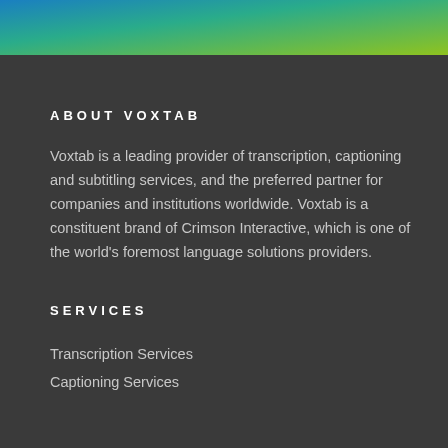[Figure (illustration): Gradient header band fading from blue on the left to green on the right]
ABOUT VOXTAB
Voxtab is a leading provider of transcription, captioning and subtitling services, and the preferred partner for companies and institutions worldwide. Voxtab is a constituent brand of Crimson Interactive, which is one of the world's foremost language solutions providers.
SERVICES
Transcription Services
Captioning Services